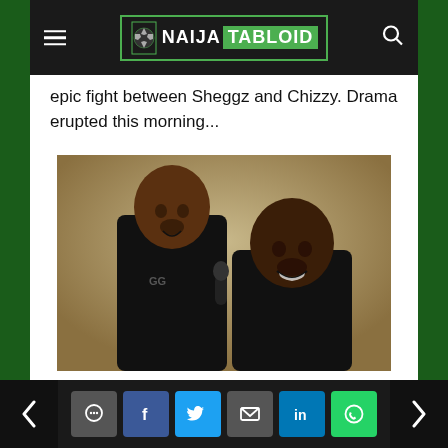NAIJA TABLOID
epic fight between Sheggz and Chizzy. Drama erupted this morning...
[Figure (photo): Two young Black men smiling, wearing black t-shirts, posed together against a beige/tan background]
ENTERTAINMENT
Nigeria's Grey raises $2M for
Navigation bar with share icons: chat, Facebook, Twitter, email, LinkedIn, WhatsApp